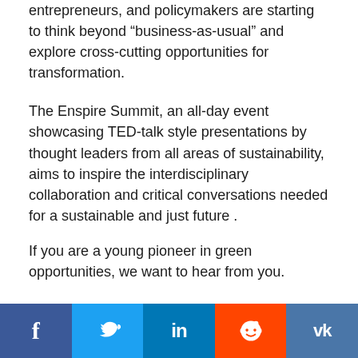entrepreneurs, and policymakers are starting to think beyond “business-as-usual” and explore cross-cutting opportunities for transformation.
The Enspire Summit, an all-day event showcasing TED-talk style presentations by thought leaders from all areas of sustainability, aims to inspire the interdisciplinary collaboration and critical conversations needed for a sustainable and just future .
If you are a young pioneer in green opportunities, we want to hear from you.
[Figure (infographic): Social media sharing bar with five buttons: Facebook (dark blue, f icon), Twitter (light blue, bird icon), LinkedIn (blue, in icon), Reddit (orange, alien icon), VK (steel blue, VK icon)]